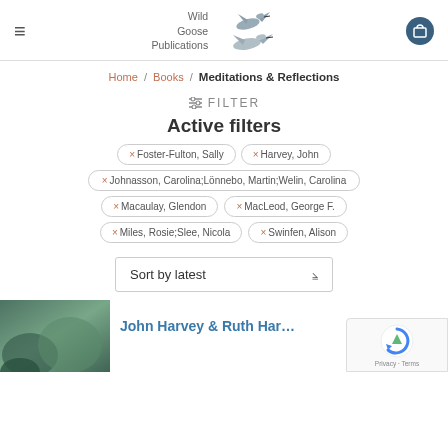[Figure (logo): Wild Goose Publications logo with two geese flying and the text 'Wild Goose Publications']
Home / Books / Meditations & Reflections
≡ FILTER
Active filters
× Foster-Fulton, Sally
× Harvey, John
× Johnasson, Carolina;Lönnebo, Martin;Welin, Carolina
× Macaulay, Glendon
× MacLeod, George F.
× Miles, Rosie;Slee, Nicola
× Swinfen, Alison
Sort by latest
John Harvey & Ruth Har…